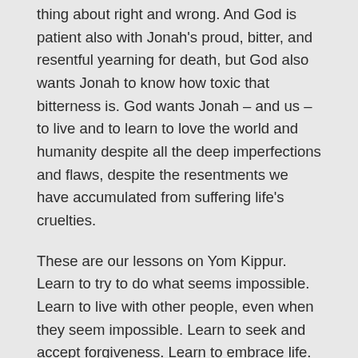thing about right and wrong. And God is patient also with Jonah's proud, bitter, and resentful yearning for death, but God also wants Jonah to know how toxic that bitterness is. God wants Jonah – and us – to live and to learn to love the world and humanity despite all the deep imperfections and flaws, despite the resentments we have accumulated from suffering life's cruelties.
These are our lessons on Yom Kippur. Learn to try to do what seems impossible. Learn to live with other people, even when they seem impossible. Learn to seek and accept forgiveness. Learn to embrace life. Learn to let go of resentment and pain.
The clock has started, we have just under 24 hours now to meet the challenge. During this day, we will confess our shortcomings and errors and we will make promises to do better, but we will get nothing out of the exercise if our acts of atonement are nothing more than expressions of despair, self-abasement, isolation, and wallowing in guilt. We need to move from that